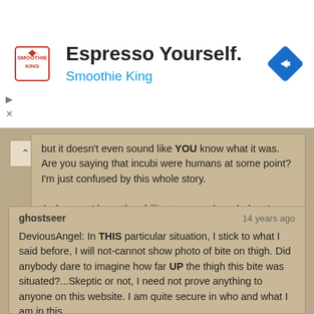[Figure (screenshot): Advertisement banner for Smoothie King with logo, headline 'Espresso Yourself.' and blue subtext 'Smoothie King', with a blue navigation diamond icon on the right]
but it doesn't even sound like YOU know what it was. Are you saying that incubi were humans at some point? I'm just confused by this whole story.

As long as I have the ability to pursue knowledge, I prefer that over blind and unquestioning belief.

Blessings,
DA
ghostseer
14 years ago
DeviousAngel: In THIS particular situation, I stick to what I said before, I will not-cannot show photo of bite on thigh. Did anybody dare to imagine how far UP the thigh this bite was situated?...Skeptic or not, I need not prove anything to anyone on this website. I am quite secure in who and what I am in this